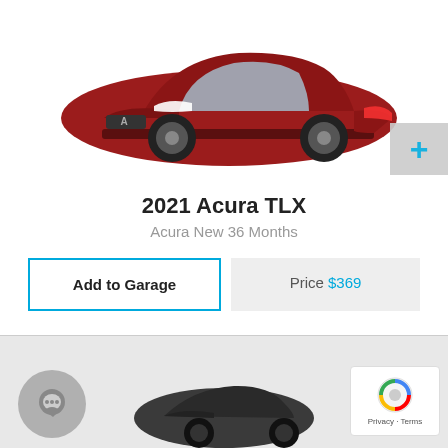[Figure (photo): Red 2021 Acura TLX sedan shown from a front three-quarter angle on a white background]
2021 Acura TLX
Acura New 36 Months
Add to Garage
Price $369
[Figure (photo): Dark gray car partially visible at the bottom of the page]